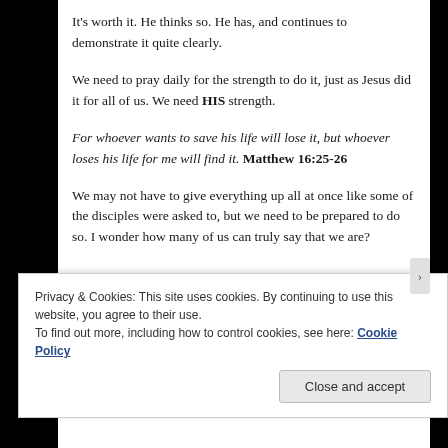It's worth it. He thinks so. He has, and continues to demonstrate it quite clearly.
We need to pray daily for the strength to do it, just as Jesus did it for all of us. We need HIS strength.
For whoever wants to save his life will lose it, but whoever loses his life for me will find it. Matthew 16:25-26
We may not have to give everything up all at once like some of the disciples were asked to, but we need to be prepared to do so. I wonder how many of us can truly say that we are?
Privacy & Cookies: This site uses cookies. By continuing to use this website, you agree to their use.
To find out more, including how to control cookies, see here: Cookie Policy